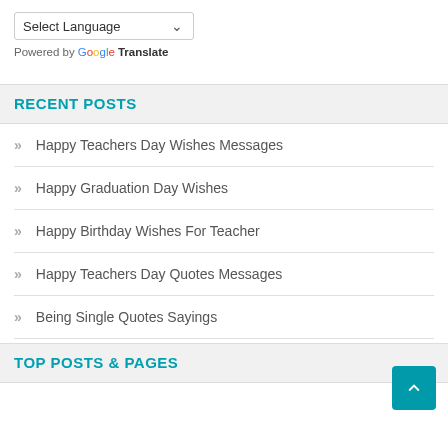Select Language (dropdown)
Powered by Google Translate
RECENT POSTS
Happy Teachers Day Wishes Messages
Happy Graduation Day Wishes
Happy Birthday Wishes For Teacher
Happy Teachers Day Quotes Messages
Being Single Quotes Sayings
TOP POSTS & PAGES